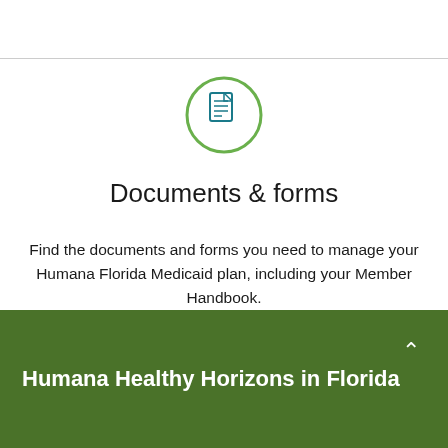[Figure (illustration): A document/forms icon inside a green circle outline]
Documents & forms
Find the documents and forms you need to manage your Humana Florida Medicaid plan, including your Member Handbook.
Find documents & forms →
Humana Healthy Horizons in Florida